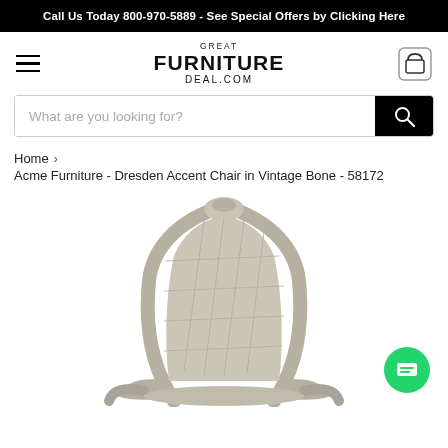Call Us Today 800-970-5889 - See Special Offers by Clicking Here
[Figure (logo): Great Furniture Deal.com logo with hamburger menu icon and shopping bag icon]
What are you looking for?
Home > Acme Furniture - Dresden Accent Chair in Vintage Bone - 58172
[Figure (photo): Partial view of an ornate accent chair in vintage bone/silver finish with quilted upholstery and carved wooden frame arms, bottom portion visible]